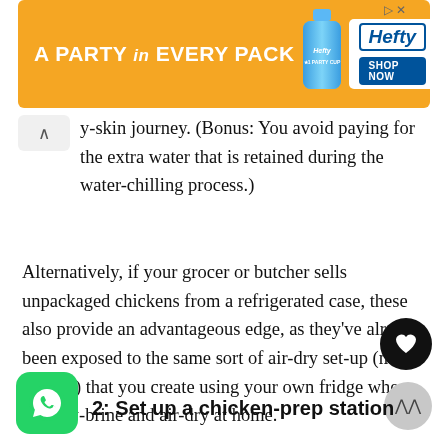[Figure (other): Hefty brand advertisement banner with orange background, text 'A PARTY in EVERY PACK', Hefty Party Cup bottle image, and Shop Now button]
y-skin journey. (Bonus: You avoid paying for the extra water that is retained during the water-chilling process.)
Alternatively, if your grocer or butcher sells unpackaged chickens from a refrigerated case, these also provide an advantageous edge, as they've already been exposed to the same sort of air-dry set-up (minus the salt) that you create using your own fridge when you dry-brine and air-dry at home.
2: Set up a chicken-prep station